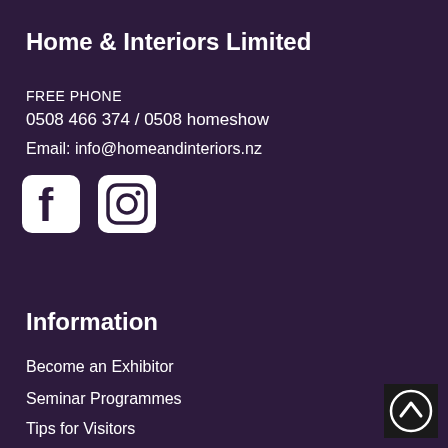Home & Interiors Limited
FREE PHONE
0508 466 374 / 0508 homeshow
Email: info@homeandinteriors.nz
[Figure (logo): Facebook and Instagram social media icons displayed side by side]
Information
Become an Exhibitor
Seminar Programmes
Tips for Visitors
[Figure (other): Scroll to top button with upward arrow on dark background]